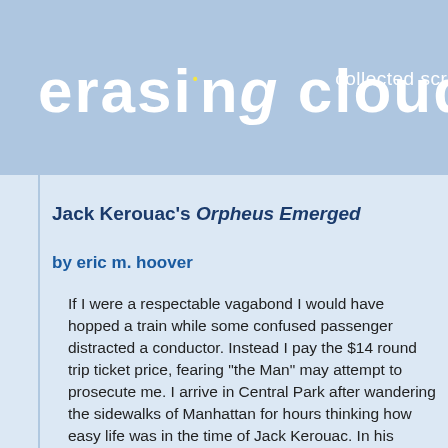erasing clouds — collected scri
Jack Kerouac's Orpheus Emerged
by eric m. hoover
If I were a respectable vagabond I would have hopped a train while some confused passenger distracted a conductor. Instead I pay the $14 round trip ticket price, fearing "the Man" may attempt to prosecute me. I arrive in Central Park after wandering the sidewalks of Manhattan for hours thinking how easy life was in the time of Jack Kerouac. In his journals and stories he writes of living off the land, off pennies a day (as one could succeed at in the 1930's and 40's), and surviving with strong feet and good will.
Humidity invades my pours as I lay sunstroked with a copy of Kerouac's Orpheus Emerged on the grass. I read